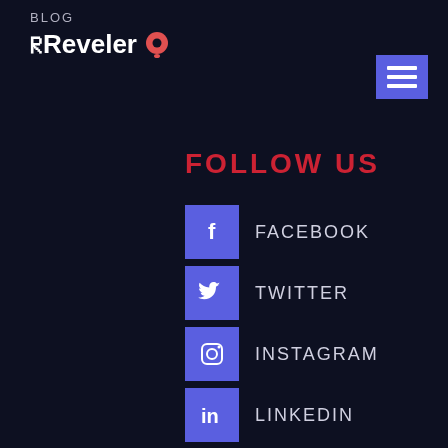BLOG
Reveler
FOLLOW US
FACEBOOK
TWITTER
INSTAGRAM
LINKEDIN